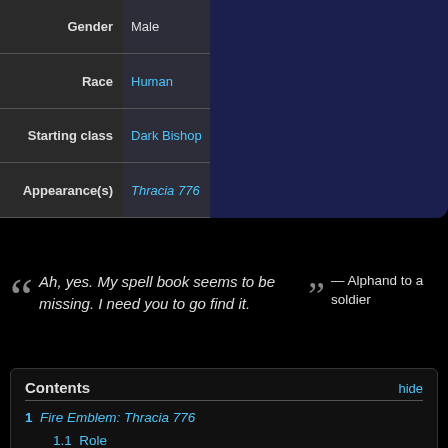| Field | Value |
| --- | --- |
| Gender | Male |
| Race | Human |
| Starting class | Dark Bishop |
| Appearance(s) | Thracia 776 |
“ Ah, yes. My spell book seems to be missing. I need you to go find it. ” — Alphand to a soldier
| Contents | hide |
| --- | --- |
| 1  Fire Emblem: Thracia 776 |  |
| 1.1  Role |  |
| 1.2  Stats |  |
| 2  Personality and character |  |
| 3  Quotes |  |